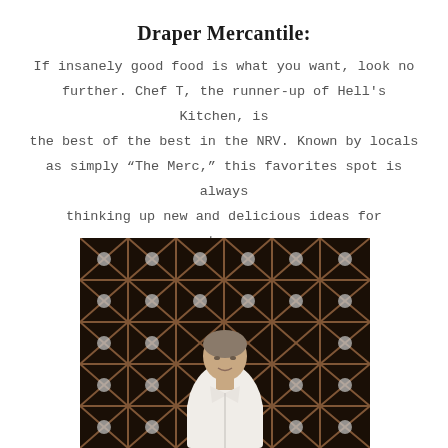Draper Mercantile:
If insanely good food is what you want, look no further. Chef T, the runner-up of Hell's Kitchen, is the best of the best in the NRV. Known by locals as simply “The Merc,” this favorites spot is always thinking up new and delicious ideas for customers.
[Figure (photo): A man in a white chef's coat standing in front of a large wooden wine rack filled with wine bottles arranged in a diamond pattern.]